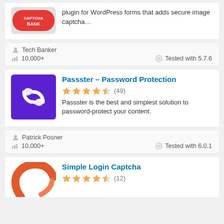[Figure (logo): Captcha Bank plugin logo - red rounded rectangle with white text 'CAPTCHA BANK']
plugin for WordPress forms that adds secure image captcha…
Tech Banker
10,000+
Tested with 5.7.6
Passster – Password Protection
[Figure (logo): Passster plugin logo - purple square background with white stylized ribbon/infinity icon]
4.5 stars (49)
Passster is the best and simplest solution to password-protect your content.
Patrick Posner
10,000+
Tested with 6.0.1
Simple Login Captcha
[Figure (logo): Simple Login Captcha plugin logo - partial orange/red circular icon visible]
4.5 stars (12)